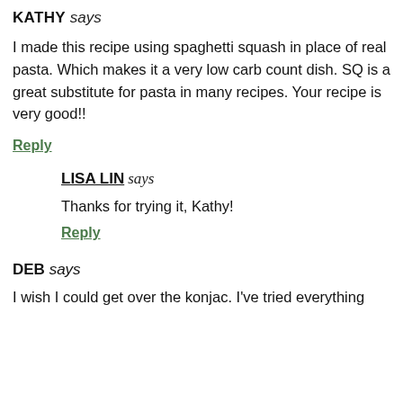KATHY says
I made this recipe using spaghetti squash in place of real pasta. Which makes it a very low carb count dish. SQ is a great substitute for pasta in many recipes. Your recipe is very good!!
Reply
LISA LIN says
Thanks for trying it, Kathy!
Reply
DEB says
I wish I could get over the konjac. I've tried everything